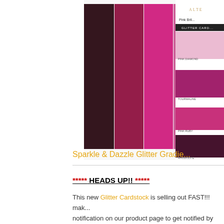[Figure (photo): Product image showing Sparkle & Dazzle Glitter Gradient cardstock swatches in pink and magenta tones with ALTEN branding, color swatches labeled Pink Diamond, Tourmaline, Pink Ruby, Rhodolite]
Sparkle & Dazzle Glitter Gradie...
***** HEADS UP!! *****
This new Glitter Cardstock is selling out FAST!!! make notification on our product page to get notified by email available again.